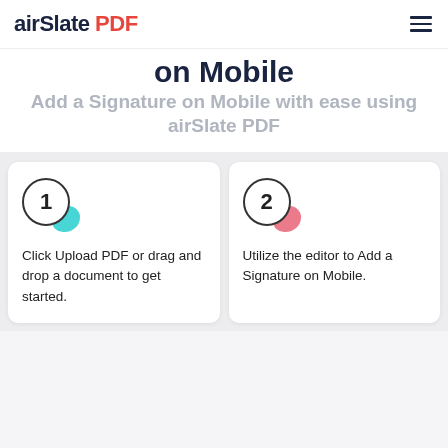airSlate PDF
on Mobile
Add a Signature on Mobile with ease using airSlate PDF
1. Click Upload PDF or drag and drop a document to get started.
2. Utilize the editor to Add a Signature on Mobile.